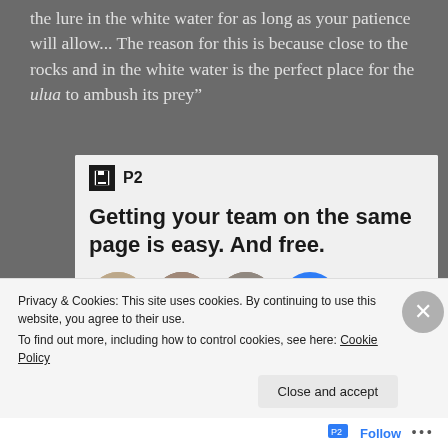the lure in the white water for as long as your patience will allow... The reason for this is because close to the rocks and in the white water is the perfect place for the ulua to ambush its prey"
[Figure (screenshot): P2 advertisement card showing 'Getting your team on the same page is easy. And free.' with three profile photos and a blue plus button]
Privacy & Cookies: This site uses cookies. By continuing to use this website, you agree to their use.
To find out more, including how to control cookies, see here: Cookie Policy
Close and accept
Follow ···